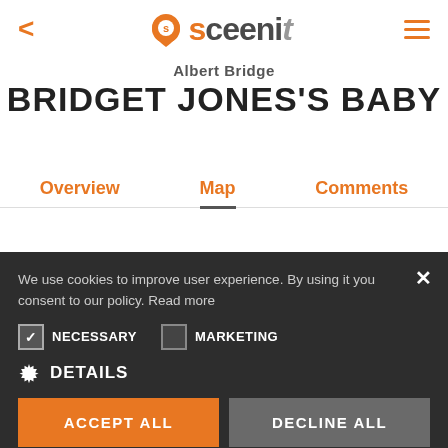[Figure (logo): Sceenit app logo with orange location pin and styled text]
Albert Bridge
BRIDGET JONES'S BABY
Overview
Map
Comments
We use cookies to improve user experience. By using it you consent to our policy. Read more
NECESSARY
MARKETING
DETAILS
ACCEPT ALL
DECLINE ALL